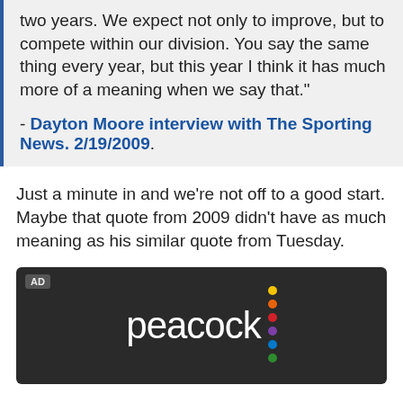two years. We expect not only to improve, but to compete within our division. You say the same thing every year, but this year I think it has much more of a meaning when we say that."
- Dayton Moore interview with The Sporting News. 2/19/2009.
Just a minute in and we're not off to a good start. Maybe that quote from 2009 didn't have as much meaning as his similar quote from Tuesday.
[Figure (other): Peacock streaming service advertisement with dark background, 'AD' label in top left, Peacock logo text in white with colorful vertical dots (yellow, orange, red, purple, blue, green)]